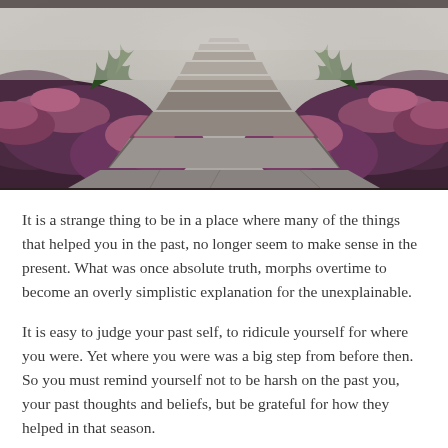[Figure (photo): A misty stone-paved path winding through purple heather and green grass, viewed from ground level looking into the foggy distance.]
It is a strange thing to be in a place where many of the things that helped you in the past, no longer seem to make sense in the present. What was once absolute truth, morphs overtime to become an overly simplistic explanation for the unexplainable.
It is easy to judge your past self, to ridicule yourself for where you were. Yet where you were was a big step from before then. So you must remind yourself not to be harsh on the past you, your past thoughts and beliefs, but be grateful for how they helped in that season.